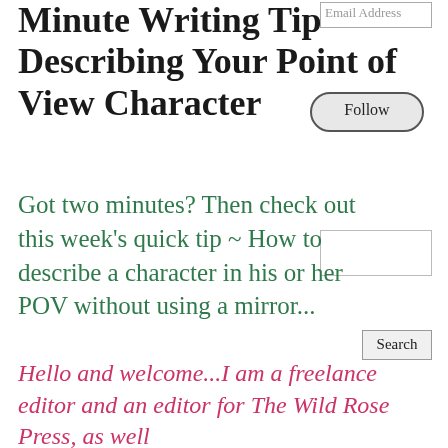Minute Writing Tip – Describing Your Point of View Character
Got two minutes? Then check out this week's quick tip ~ How to describe a character in his or her POV without using a mirror...
Hello and welcome...I am a freelance editor and an editor for The Wild Rose Press, as well